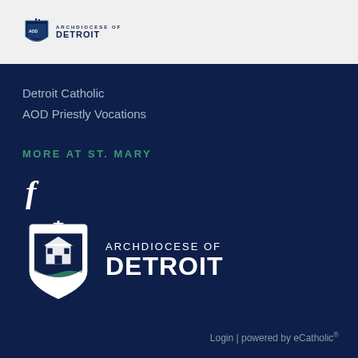[Figure (logo): Archdiocese of Detroit small logo in header bar]
Detroit Catholic
AOD Priestly Vocations
MORE AT ST. MARY
[Figure (logo): Facebook logo icon (f)]
[Figure (logo): Archdiocese of Detroit full logo with shield and text]
Login | powered by eCatholic®